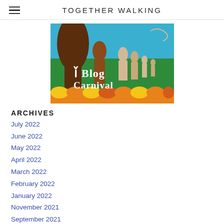TOGETHER WALKING
[Figure (illustration): Blog Carnival illustration showing silhouettes of people walking together against a colorful background with green, blue, orange, yellow and brown tones. Text reads 'Blog Carnival' in decorative white lettering.]
ARCHIVES
July 2022
June 2022
May 2022
April 2022
March 2022
February 2022
January 2022
November 2021
September 2021